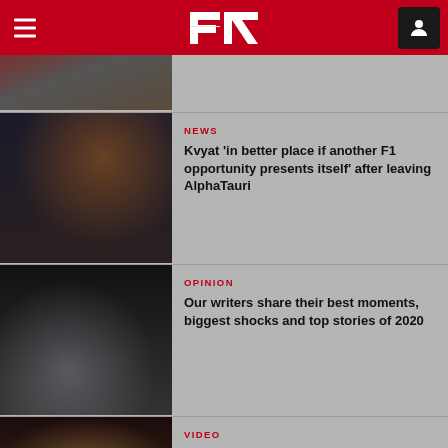F1 — Formula 1 header navigation
[Figure (photo): Partial top image of a racing driver or paddock scene, cropped]
NEWS
Kvyat 'in better place if another F1 opportunity presents itself' after leaving AlphaTauri
[Figure (photo): Daniil Kvyat photographed through the visor of his helmet in an F1 cockpit]
OPINION
Our writers share their best moments, biggest shocks and top stories of 2020
[Figure (photo): F1 car with smoke/burnout on track]
VIDEO
WATCH: Daniil Kvyat's most memorable moments in F1
[Figure (photo): Daniil Kvyat celebrating on podium holding trophy with Red Bull team]